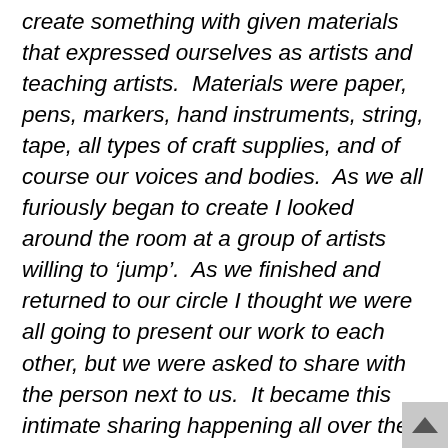create something with given materials that expressed ourselves as artists and teaching artists.  Materials were paper, pens, markers, hand instruments, string, tape, all types of craft supplies, and of course our voices and bodies.  As we all furiously began to create I looked around the room at a group of artists willing to 'jump'.  As we finished and returned to our circle I thought we were all going to present our work to each other, but we were asked to share with the person next to us.  It became this intimate sharing happening all over the room.  People were reading to one another, speaking about their artwork or making music for each other.  We were talking about our work and what we hoped to do with our artistry in teaching.  I felt like we were all sharing with each other simultaneously, and I felt a strong connection to my fellow teaching artist as we